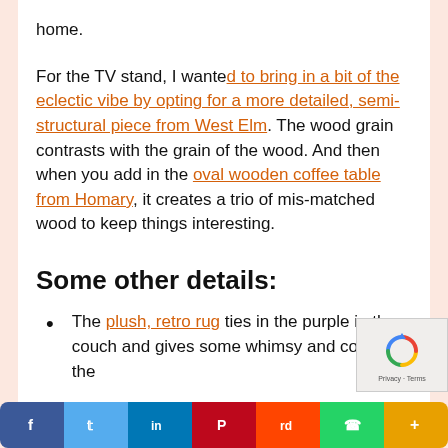home.
For the TV stand, I wanted to bring in a bit of the eclectic vibe by opting for a more detailed, semi-structural piece from West Elm. The wood grain contrasts with the grain of the wood. And then when you add in the oval wooden coffee table from Homary, it creates a trio of mismatched wood to keep things interesting.
Some other details:
The plush, retro rug ties in the purple in the couch and gives some whimsy and color to the